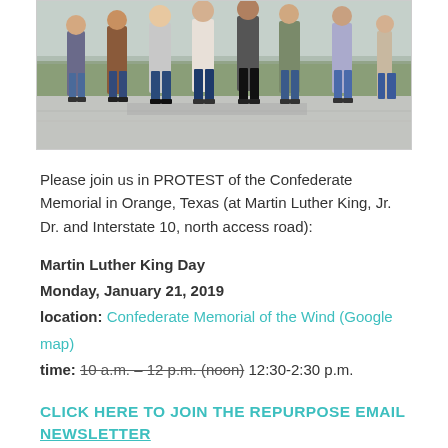[Figure (photo): Photo of a group of people standing on a sidewalk near an intersection, with grass and a fence in the background.]
Please join us in PROTEST of the Confederate Memorial in Orange, Texas (at Martin Luther King, Jr. Dr. and Interstate 10, north access road):
Martin Luther King Day
Monday, January 21, 2019
location: Confederate Memorial of the Wind (Google map)
time: 10 a.m. – 12 p.m. (noon) 12:30-2:30 p.m.
CLICK HERE TO JOIN THE REPURPOSE EMAIL NEWSLETTER